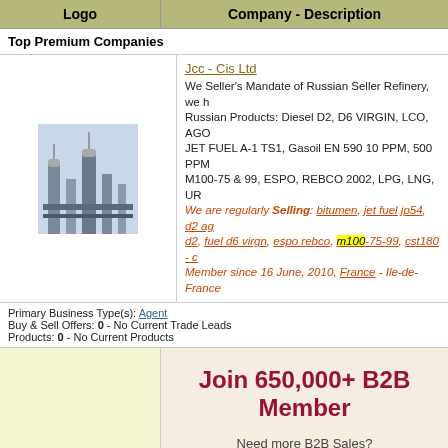| Logo | Company - Description |
| --- | --- |
Top Premium Companies
Jcc - Cis Ltd
We Seller's Mandate of Russian Seller Refinery, we h Russian Products: Diesel D2, D6 VIRGIN, LCO, AGO JET FUEL A-1 TS1, Gasoil EN 590 10 PPM, 500 PPM M100-75 & 99, ESPO, REBCO 2002, LPG, LNG, UR We are regularly Selling: bitumen, jet fuel jp54, d2 ag d2, fuel d6 virgn, espo rebco, m100-75-99, cst180 - c Member since 16 June, 2010, France - Ile-de-France
Primary Business Type(s): Agent
Buy & Sell Offers: 0 - No Current Trade Leads
Products: 0 - No Current Products
[Figure (infographic): Promotional overlay: Join 650,000+ B2B Members, Need more B2B Sales?, Email Address input, Get More B2B Sales button]
Primary Business T
Buy & Sell Offers: 6
Products: 1 Produc